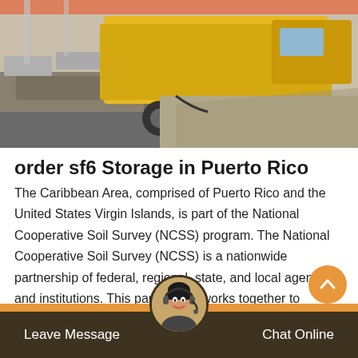[Figure (photo): A yellow construction truck or machinery on a road/construction site, with gravel and asphalt visible, orange safety barriers in background.]
order sf6 Storage in Puerto Rico
The Caribbean Area, comprised of Puerto Rico and the United States Virgin Islands, is part of the National Cooperative Soil Survey (NCSS) program. The National Cooperative Soil Survey (NCSS) is a nationwide partnership of federal, regional, state, and local agencies and institutions. This partnership works together to cooperatively investigate,
Leave Message   Chat Online